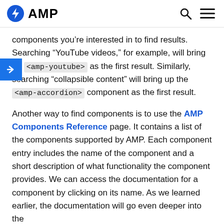AMP
components you’re interested in to find results. Searching “YouTube videos,” for example, will bring up <amp-youtube> as the first result. Similarly, searching “collapsible content” will bring up the <amp-accordion> component as the first result.
Another way to find components is to use the AMP Components Reference page. It contains a list of the components supported by AMP. Each component entry includes the name of the component and a short description of what functionality the component provides. We can access the documentation for a component by clicking on its name. As we learned earlier, the documentation will go even deeper into the